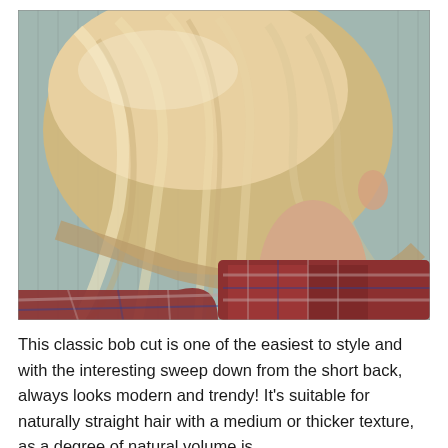[Figure (photo): Back view of a woman with a classic blonde bob haircut, wearing a red plaid flannel shirt, photographed against a light grey/teal beadboard wall. The hair shows a sweep from short back to longer front angles.]
This classic bob cut is one of the easiest to style and with the interesting sweep down from the short back, always looks modern and trendy! It's suitable for naturally straight hair with a medium or thicker texture, as a degree of natural volume is